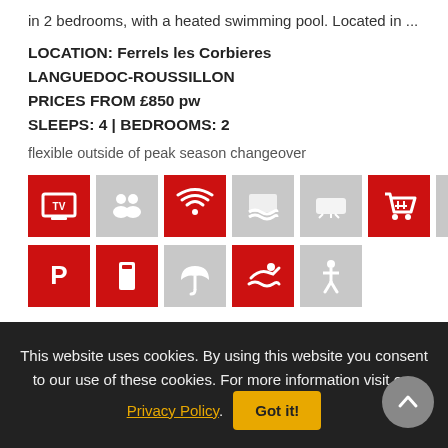in 2 bedrooms, with a heated swimming pool. Located in ...
LOCATION: Ferrels les Corbieres
LANGUEDOC-ROUSSILLON
PRICES FROM £850 pw
SLEEPS: 4 | BEDROOMS: 2
flexible outside of peak season changeover
[Figure (infographic): Two rows of property feature icons: TV (red), people/guests (gray), WiFi/signal (red), pool/water (gray), air conditioning (gray), shopping cart (red), landscape/view (gray); second row: parking P (red), towels (red), umbrella (gray), swimming figure (red), accessibility (gray)]
This website uses cookies. By using this website you consent to our use of these cookies. For more information visit our Privacy Policy. Got it!